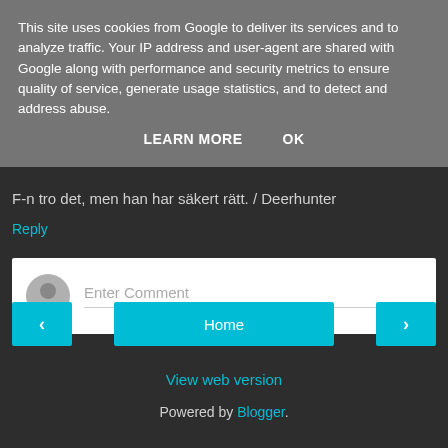This site uses cookies from Google to deliver its services and to analyze traffic. Your IP address and user-agent are shared with Google along with performance and security metrics to ensure quality of service, generate usage statistics, and to detect and address abuse.
LEARN MORE    OK
F-n tro det, men han har säkert rätt. / Deerhunter
Reply
Enter Comment
‹
Home
›
View web version
Powered by Blogger.